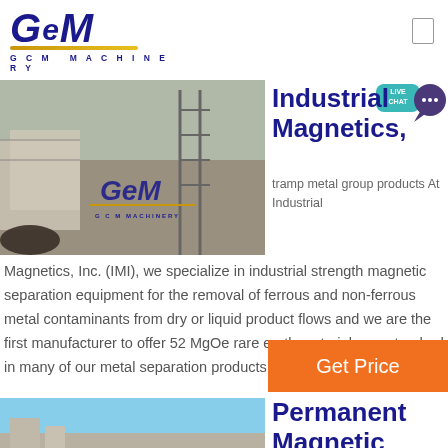[Figure (logo): GCM Machinery logo in dark blue italic lettering with gold underline and 'G C M MACHINERY' subtitle]
[Figure (photo): Construction/excavation site photo with GCM Machinery logo overlay, workers and heavy equipment visible]
Industrial Magnetics,
tramp metal group products At Industrial Magnetics, Inc. (IMI), we specialize in industrial strength magnetic separation equipment for the removal of ferrous and non-ferrous metal contaminants from dry or liquid product flows and we are the first manufacturer to offer 52 MgOe rare earth material as a standard in many of our metal separation products.
[Figure (infographic): Live Chat bubble icon in teal and purple]
Get Price
[Figure (photo): Outdoor industrial site photo with blue sky]
Permanent Magnetic